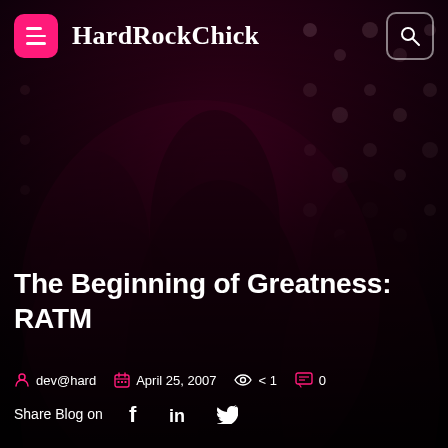HardRockChick
[Figure (photo): Dark concert/venue photo with two people in the foreground, bokeh lights in background, deep magenta/red tones]
The Beginning of Greatness: RATM
dev@hard   April 25, 2007   < 1   0
Share Blog on